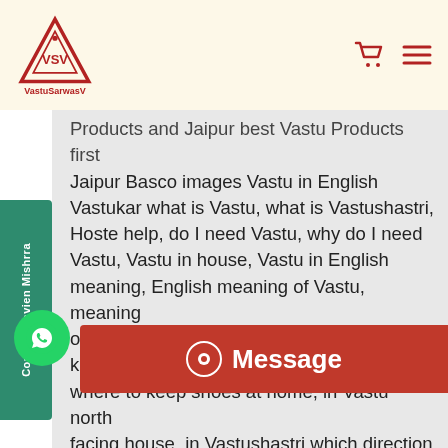[Figure (logo): VastuSarwasV logo with triangle and VSV text]
Products and Jaipur best Vastu Products first Jaipur Basco images Vastu in English Vastukar what is Vastu, what is Vastushastri, Hoste help, do I need Vastu, why do I need Vastu, Vastu in house, Vastu in English meaning, English meaning of Vastu, meaning of Vastu, why do we need Vastu, where to keep shoes at home in Vastu, under Vastu where to keep shoes at home, in Vastu north facing house, in Vastushastri which direction of toilet, in Vastushastri, and Vastushastri which direction of sleep, and Vastushastri which color of bedroom, In Vastushastri main ance, in Vastushastri which color, bhaskar sh, Javed, Vastu job, Raj Mahndra, Vastu Geo, Vastu Jyothi, Vastu
Consult Navien Mishrra